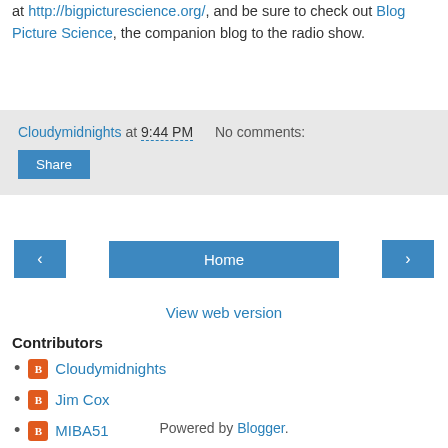at http://bigpicturescience.org/, and be sure to check out Blog Picture Science, the companion blog to the radio show.
Cloudymidnights at 9:44 PM   No comments:
Share
‹   Home   ›
View web version
Contributors
Cloudymidnights
Jim Cox
MIBA51
Powered by Blogger.